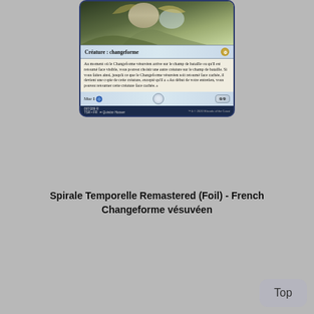[Figure (photo): Partial Magic: The Gathering card in French - bottom portion showing creature type 'Créature : changeforme', rules text about Changeforme vésuvéen arriving on battlefield, Mue ability, 0/0 power/toughness, set info 097/289 R TSR FR art by Quinton Hoover copyright 2020 Wizards of the Coast]
Spirale Temporelle Remastered (Foil) - French Changeforme vésuvéen
[Figure (photo): Partial Magic: The Gathering card in French - Changeforme vésuvéen with mana cost 3UU, showing card title bar and top portion of art with two mirrored armored figures]